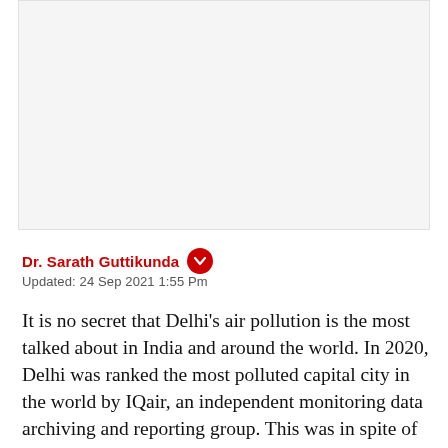[Figure (other): Gray advertisement placeholder box at the top of the page]
Dr. Sarath Guttikunda
Updated: 24 Sep 2021 1:55 Pm
It is no secret that Delhi's air pollution is the most talked about in India and around the world. In 2020, Delhi was ranked the most polluted capital city in the world by IQair, an independent monitoring data archiving and reporting group. This was in spite of the lockdown-induced blue skies and clean air days.
In the past, Delhi has been in the news also for some right reasons. In the early 2000s, the city became the first to successfully add to clean...